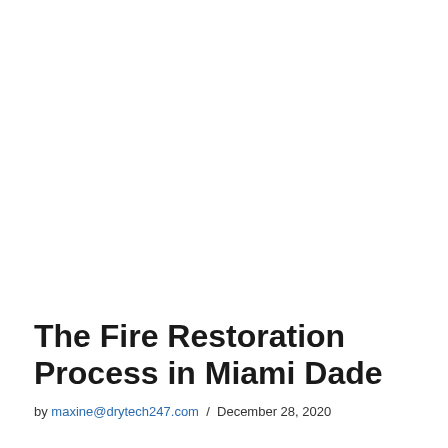The Fire Restoration Process in Miami Dade
by maxine@drytech247.com / December 28, 2020